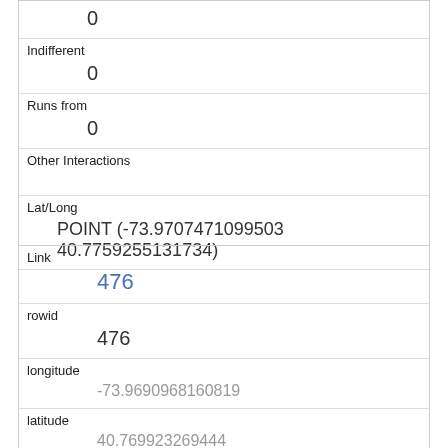| 0 |
| Indifferent | 0 |
| Runs from | 0 |
| Other Interactions |  |
| Lat/Long | POINT (-73.9707471099503 40.7759255131734) |
| Link | 476 |
| rowid | 476 |
| longitude | -73.9690968160819 |
| latitude | 40.769923269444 |
| Unique Squirrel ID | 8I-AM-1006-08 |
| Hectare |  |